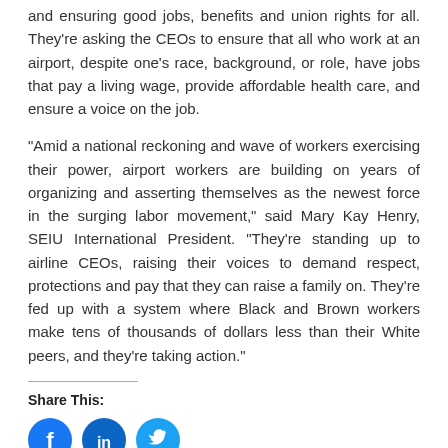and ensuring good jobs, benefits and union rights for all. They're asking the CEOs to ensure that all who work at an airport, despite one's race, background, or role, have jobs that pay a living wage, provide affordable health care, and ensure a voice on the job.
“Amid a national reckoning and wave of workers exercising their power, airport workers are building on years of organizing and asserting themselves as the newest force in the surging labor movement,” said Mary Kay Henry, SEIU International President. “They’re standing up to airline CEOs, raising their voices to demand respect, protections and pay that they can raise a family on. They’re fed up with a system where Black and Brown workers make tens of thousands of dollars less than their White peers, and they’re taking action.”
Share This: